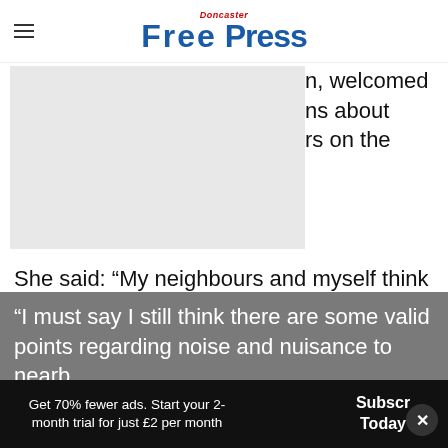Doncaster Free Press
[Figure (photo): Partially visible photo, left portion of the layout, grey placeholder]
n, welcomed ns about rs on the
She said: “My neighbours and myself think the licensing hours are quite excessive for a number of reasons.
“I must say I still think there are some valid points regarding noise and nuisance to nearb
Get 70% fewer ads. Start your 2-month trial for just £2 per month
Subscribe Today